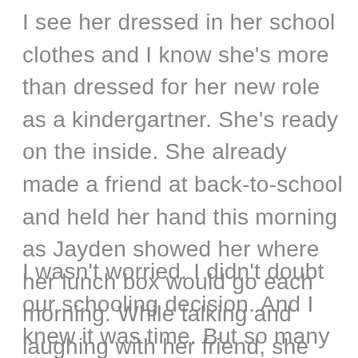I see her dressed in her school clothes and I know she's more than dressed for her new role as a kindergartner. She's ready on the inside. She already made a friend at back-to-school and held her hand this morning as Jayden showed her where her lunch box would go each morning. While talking and laughing with her friend, she looked back toward me and grinned. And I knew it was time to go, even though my momma heart wasn't quite ready.
I wasn't worried. I didn't doubt our schooling decision. And I knew it was time. But so many moments over the past five years flashed through my mind all at once. I thought about